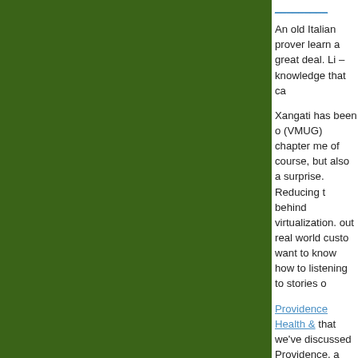[Figure (other): Dark green background panel on the left side of the page]
An old Italian prover learn a great deal. Li – knowledge that ca
Xangati has been o (VMUG) chapter me of course, but also a surprise. Reducing t behind virtualization. out real world custo want to know how to listening to stories o
Providence Health & that we've discussed Providence, a large, system, has 27 hosp the western U.S. The virtualize a multi-tier (EMR) application – for patient care. Mak was the fact that the switching from an ou GUI-based version o
Before implementin